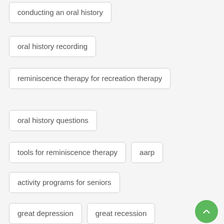conducting an oral history
oral history recording
reminiscence therapy for recreation therapy
oral history questions
tools for reminiscence therapy
aarp
activity programs for seniors
great depression
great recession
video recording a biography
video recording kit
create a legacy